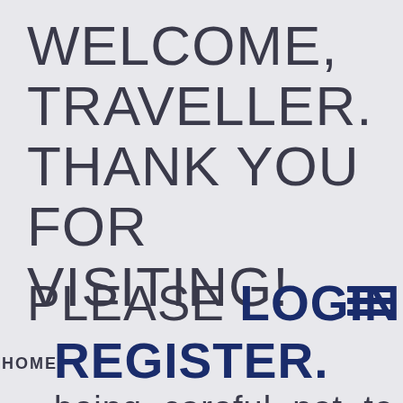WELCOME, TRAVELLER. THANK YOU FOR VISITING!
PLEASE LOGIN OR REGISTER.
HOME
being careful not to scratch them with her
RULES